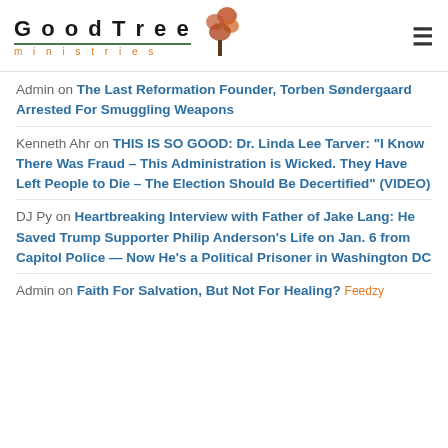GoodTree ministries
Admin on The Last Reformation Founder, Torben Søndergaard Arrested For Smuggling Weapons
Kenneth Ahr on THIS IS SO GOOD: Dr. Linda Lee Tarver: "I Know There Was Fraud – This Administration is Wicked. They Have Left People to Die – The Election Should Be Decertified" (VIDEO)
DJ Py on Heartbreaking Interview with Father of Jake Lang: He Saved Trump Supporter Philip Anderson's Life on Jan. 6 from Capitol Police — Now He's a Political Prisoner in Washington DC
Admin on Faith For Salvation, But Not For Healing?